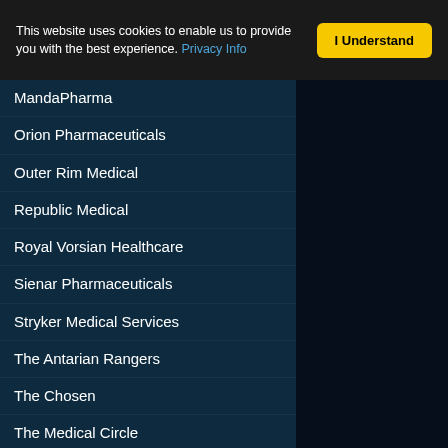This website uses cookies to enable us to provide you with the best experience. Privacy Info
MandaPharma
Orion Pharmaceuticals
Outer Rim Medical
Republic Medical
Royal Vorsian Healthcare
Sienar Pharmaceuticals
Stryker Medical Services
The Antarian Rangers
The Chosen
The Medical Circle
University of Sanbra
Uukaablian MedCorp
Vlemeth Biopharmaceuticals
Veracity